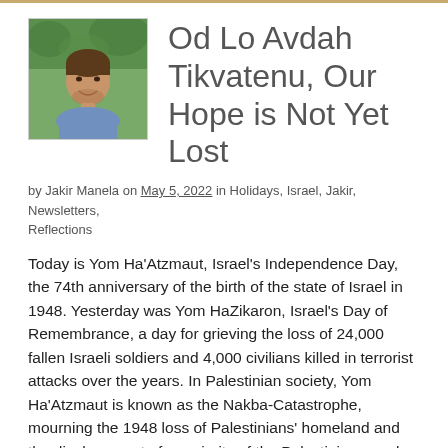Od Lo Avdah Tikvatenu, Our Hope is Not Yet Lost
by Jakir Manela on May 5, 2022 in Holidays, Israel, Jakir, Newsletters, Reflections
Today is Yom Ha'Atzmaut, Israel's Independence Day, the 74th anniversary of the birth of the state of Israel in 1948. Yesterday was Yom HaZikaron, Israel's Day of Remembrance, a day for grieving the loss of 24,000 fallen Israeli soldiers and 4,000 civilians killed in terrorist attacks over the years. In Palestinian society, Yom Ha'Atzmaut is known as the Nakba-Catastrophe, mourning the 1948 loss of Palestinians' homeland and the displacement of a majority of the Palestinian people. For me, these days, back to back and inside out, are the most powerful